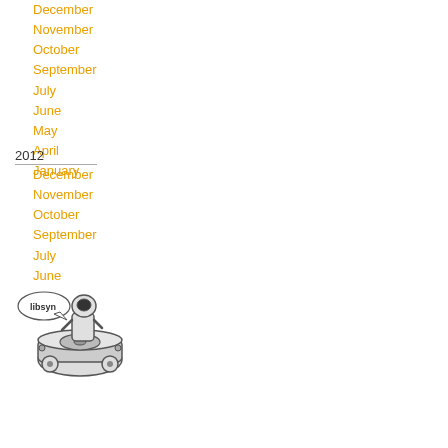December
November
October
September
July
June
May
April
January
2012
December
November
October
September
July
June
[Figure (logo): Libsyn podcast hosting logo: a cartoon astronaut/robot character sitting on a hard drive on wheels with a speech bubble saying 'libsyn']